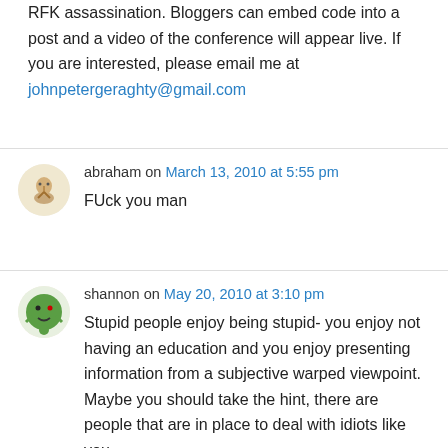RFK assassination. Bloggers can embed code into a post and a video of the conference will appear live. If you are interested, please email me at johnpetergeraghty@gmail.com
abraham on March 13, 2010 at 5:55 pm
FUck you man
shannon on May 20, 2010 at 3:10 pm
Stupid people enjoy being stupid- you enjoy not having an education and you enjoy presenting information from a subjective warped viewpoint. Maybe you should take the hint, there are people that are in place to deal with idiots like you.